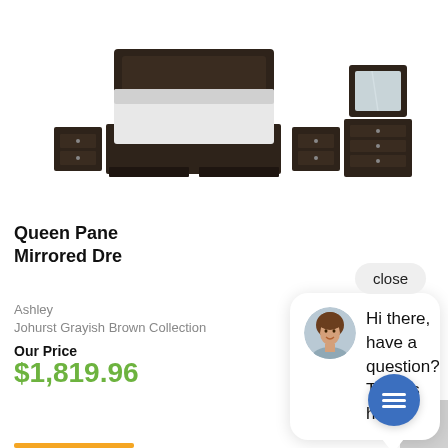[Figure (photo): Bedroom furniture set in dark grayish brown including a queen panel bed with storage, two nightstands, a dresser, and a mirror]
Queen Pane... Mirrored Dre...
Ashley
Johurst Grayish Brown Collection
Our Price
$1,819.96
[Figure (screenshot): Live chat popup widget showing a customer service agent avatar and message: Hi there, have a question? Text us here.]